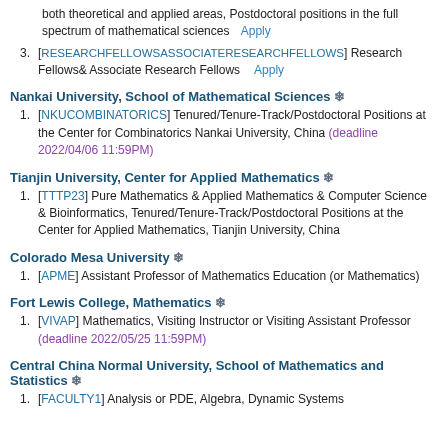both theoretical and applied areas, Postdoctoral positions in the full spectrum of mathematical sciences   Apply
[RESEARCHFELLOWSASSOCIATERESEARCHFELLOWS] Research Fellows& Associate Research Fellows   Apply
Nankai University, School of Mathematical Sciences ❄
[NKUCOMBINATORICS] Tenured/Tenure-Track/Postdoctoral Positions at the Center for Combinatorics Nankai University, China (deadline 2022/04/06 11:59PM)
Tianjin University, Center for Applied Mathematics ❄
[TTTP23] Pure Mathematics & Applied Mathematics & Computer Science & Bioinformatics, Tenured/Tenure-Track/Postdoctoral Positions at the Center for Applied Mathematics, Tianjin University, China
Colorado Mesa University ❄
[APME] Assistant Professor of Mathematics Education (or Mathematics)
Fort Lewis College, Mathematics ❄
[VIVAP] Mathematics, Visiting Instructor or Visiting Assistant Professor (deadline 2022/05/25 11:59PM)
Central China Normal University, School of Mathematics and Statistics ❄
[FACULTY1] Analysis or PDE, Algebra, Dynamic Systems...